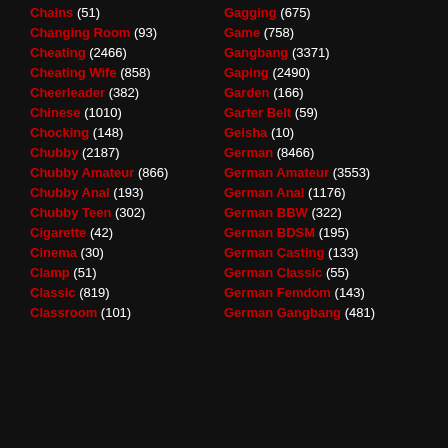Chains (51)
Changing Room (93)
Cheating (2466)
Cheating Wife (858)
Cheerleader (382)
Chinese (1010)
Chocking (148)
Chubby (2187)
Chubby Amateur (866)
Chubby Anal (193)
Chubby Teen (302)
Cigarette (42)
Cinema (30)
Clamp (51)
Classic (819)
Classroom (101)
Gagging (675)
Game (758)
Gangbang (3371)
Gaping (2490)
Garden (166)
Garter Belt (59)
Geisha (10)
German (8466)
German Amateur (3553)
German Anal (1176)
German BBW (322)
German BDSM (195)
German Casting (133)
German Classic (55)
German Femdom (143)
German Gangbang (481)